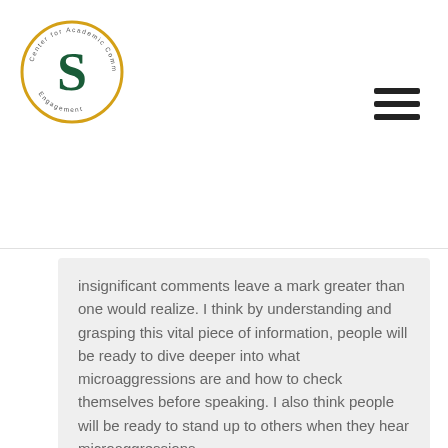[Figure (logo): Center for Academic Community Engagement circular logo with letter S]
insignificant comments leave a mark greater than one would realize. I think by understanding and grasping this vital piece of information, people will be ready to dive deeper into what microaggressions are and how to check themselves before speaking. I also think people will be ready to stand up to others when they hear microaggressions.
[Figure (illustration): Blue decorative avatar/icon for commenter Elizabeth MacMurray]
Elizabeth MacMurray says: